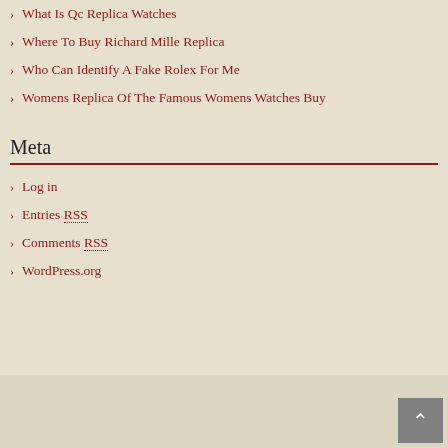What Is Qc Replica Watches
Where To Buy Richard Mille Replica
Who Can Identify A Fake Rolex For Me
Womens Replica Of The Famous Womens Watches Buy
Meta
Log in
Entries RSS
Comments RSS
WordPress.org